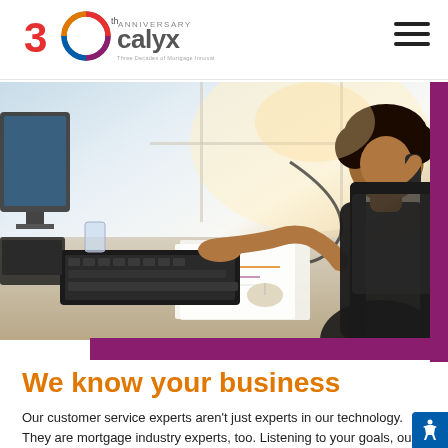Calyx 30th Anniversary - Three Decades of Mortgage Innovation
[Figure (photo): Woman with curly hair sitting at office desk, smiling while talking on a corded phone and typing on a keyboard, with office equipment and papers visible in background]
We know your business
Our customer service experts aren't just experts in our technology. They are mortgage industry experts, too. Listening to your goals, our team will recommend the